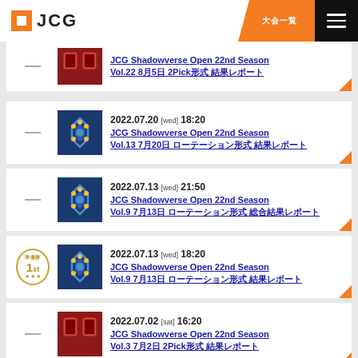JCG
JCG Shadowverse Open 22nd Season Vol.22 8月5日 2Pick形式 結果レポート
2022.07.20 [wed] 18:20 JCG Shadowverse Open 22nd Season Vol.13 7月20日 ローテーション形式 結果レポート
2022.07.13 [wed] 21:50 JCG Shadowverse Open 22nd Season Vol.9 7月13日 ローテーション形式 総合結果レポート
2022.07.13 [wed] 18:20 JCG Shadowverse Open 22nd Season Vol.9 7月13日 ローテーション形式 結果レポート
2022.07.02 [sat] 16:20 JCG Shadowverse Open 22nd Season Vol.3 7月2日 2Pick形式 結果レポート